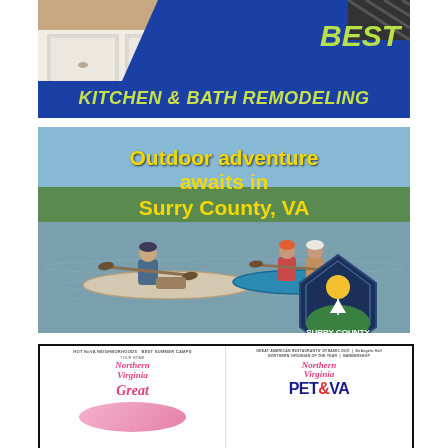[Figure (illustration): Advertisement for kitchen and bath remodeling. Photo of white kitchen cabinetry with blue diagonal banner. Text reads BEST KITCHEN & BATH REMODELING in yellow-green italic bold font on blue background.]
[Figure (photo): Advertisement for Surry County, VA tourism. Photo of people kayaking on calm water with trees in background. Yellow bold text overlay: 'Outdoor adventure awaits in Surry County, VA'. Surry County Virginia official logo badge (navy/green diamond shape with sailboat and sun, established 1652) in lower right.]
[Figure (screenshot): Advertisement showing two Northern Virginia magazine covers side by side, one labeled 'NorthernVirginia Great' and the other 'NorthernVirginia PET & VA'. Headlines include 'HOT NoVA NEIGHBORHOODS', 'BEST SUMMER CAMPS', 'GREAT AMERICAN RESTAURANTS', 'DYNAMIC DUO', 'DeAngelo Hall', 'NORTHERN VIRGINIAN OF THE YEAR', 'BARBERSHOP'.]